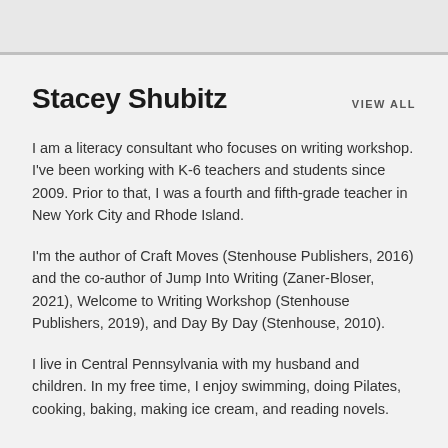Stacey Shubitz
VIEW ALL
I am a literacy consultant who focuses on writing workshop. I've been working with K-6 teachers and students since 2009. Prior to that, I was a fourth and fifth-grade teacher in New York City and Rhode Island.
I'm the author of Craft Moves (Stenhouse Publishers, 2016) and the co-author of Jump Into Writing (Zaner-Bloser, 2021), Welcome to Writing Workshop (Stenhouse Publishers, 2019), and Day By Day (Stenhouse, 2010).
I live in Central Pennsylvania with my husband and children. In my free time, I enjoy swimming, doing Pilates, cooking, baking, making ice cream, and reading novels.